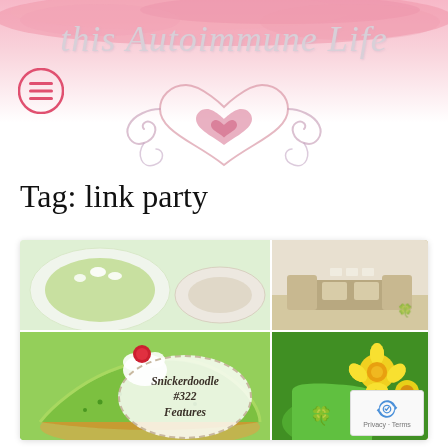[Figure (logo): This Autoimmune Life blog header with pink watercolor background, decorative hearts and swirl ornament, hamburger menu icon, italic script title text in light mauve color]
Tag: link party
[Figure (photo): Collage of four photos: top-left shows a green pie on a plate, top-right shows a light wood furniture piece in a room, bottom-left (largest) shows a slice of green key lime style pie with red cherry and whipped cream, bottom-right shows yellow daffodil flowers with green shamrock decoration. Center overlay circle reads 'Snickerdoodle #322 Features' in italic bold text. reCAPTCHA badge in bottom-right corner.]